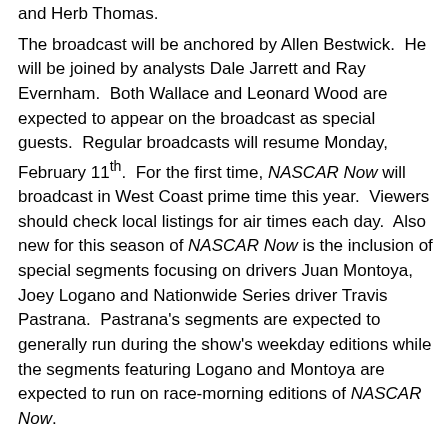and Herb Thomas.  The broadcast will be anchored by Allen Bestwick.  He will be joined by analysts Dale Jarrett and Ray Evernham.  Both Wallace and Leonard Wood are expected to appear on the broadcast as special guests.  Regular broadcasts will resume Monday, February 11th.  For the first time, NASCAR Now will broadcast in West Coast prime time this year.  Viewers should check local listings for air times each day.  Also new for this season of NASCAR Now is the inclusion of special segments focusing on drivers Juan Montoya, Joey Logano and Nationwide Series driver Travis Pastrana.  Pastrana's segments are expected to generally run during the show's weekday editions while the segments featuring Logano and Montoya are expected to run on race-morning editions of NASCAR Now.